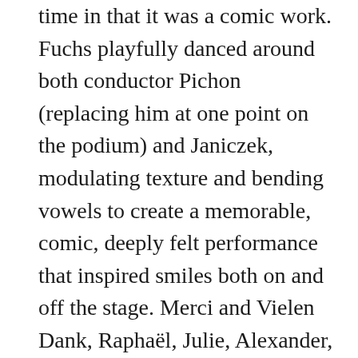time in that it was a comic work. Fuchs playfully danced around both conductor Pichon (replacing him at one point on the podium) and Janiczek, modulating texture and bending vowels to create a memorable, comic, deeply felt performance that inspired smiles both on and off the stage. Merci and Vielen Dank, Raphaël, Julie, Alexander, and DSO!